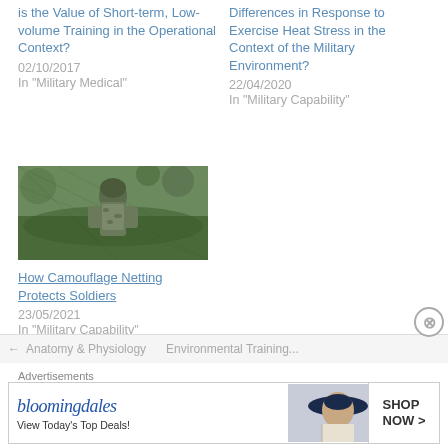is the Value of Short-term, Low-volume Training in the Operational Context?
02/10/2017
In "Military Medical"
Differences in Response to Exercise Heat Stress in the Context of the Military Environment?
22/04/2020
In "Military Capability"
[Figure (photo): A soldier in camouflage gear and netting viewed from behind, standing in a forested/outdoor environment]
How Camouflage Netting Protects Soldiers
23/05/2021
In "Military Capability"
← Anatomy & Physiology    Environmental Training...
Advertisements
[Figure (other): Bloomingdale's advertisement banner: 'bloomingdales - View Today's Top Deals! SHOP NOW >']